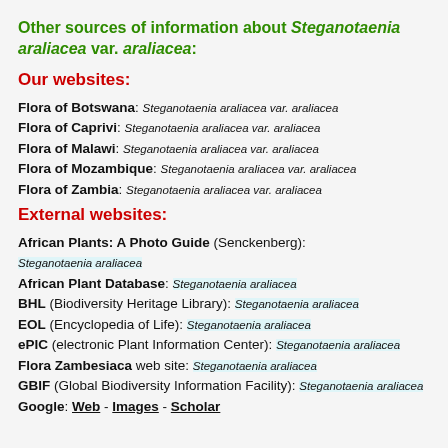Other sources of information about Steganotaenia araliacea var. araliacea:
Our websites:
Flora of Botswana: Steganotaenia araliacea var. araliacea
Flora of Caprivi: Steganotaenia araliacea var. araliacea
Flora of Malawi: Steganotaenia araliacea var. araliacea
Flora of Mozambique: Steganotaenia araliacea var. araliacea
Flora of Zambia: Steganotaenia araliacea var. araliacea
External websites:
African Plants: A Photo Guide (Senckenberg): Steganotaenia araliacea
African Plant Database: Steganotaenia araliacea
BHL (Biodiversity Heritage Library): Steganotaenia araliacea
EOL (Encyclopedia of Life): Steganotaenia araliacea
ePIC (electronic Plant Information Center): Steganotaenia araliacea
Flora Zambesiaca web site: Steganotaenia araliacea
GBIF (Global Biodiversity Information Facility): Steganotaenia araliacea
Google: Web - Images - Scholar